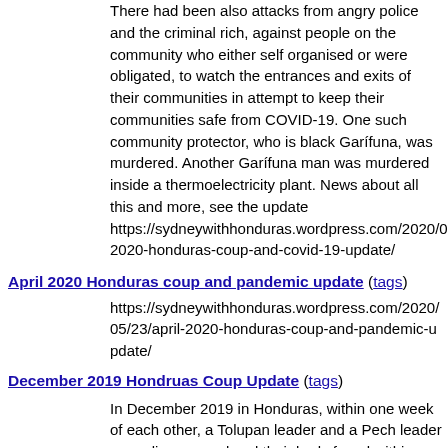There had been also attacks from angry police and the criminal rich, against people on the community who either self organised or were obligated, to watch the entrances and exits of their communities in attempt to keep their communities safe from COVID-19. One such community protector, who is black Garífuna, was murdered. Another Garífuna man was murdered inside a thermoelectricity plant. News about all this and more, see the update https://sydneywithhonduras.wordpress.com/2020/06/25/may-2020-honduras-coup-and-covid-19-update/
April 2020 Honduras coup and pandemic update (tags)
https://sydneywithhonduras.wordpress.com/2020/05/23/april-2020-honduras-coup-and-pandemic-update/
December 2019 Hondruas Coup Update (tags)
In December 2019 in Honduras, within one week of each other, a Tolupan leader and a Pech leader were disappeared and their body found within a week. There were attempts against black Garífuna organisers and community members. A lawyer was attempted against in Choluteca. Grassroots organisations also attacked in Choluteca and in Aguan. An organisation